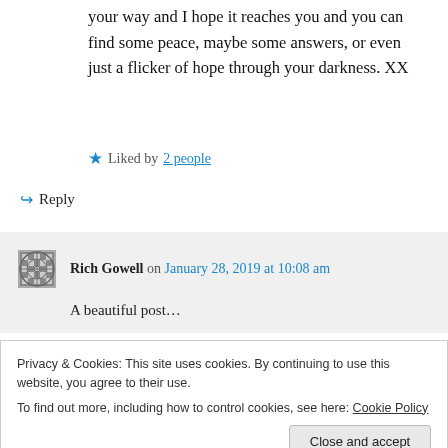your way and I hope it reaches you and you can find some peace, maybe some answers, or even just a flicker of hope through your darkness. XX
★ Liked by 2 people
↪ Reply
Rich Gowell on January 28, 2019 at 10:08 am
A beautiful post…
Privacy & Cookies: This site uses cookies. By continuing to use this website, you agree to their use.
To find out more, including how to control cookies, see here: Cookie Policy
Close and accept
Jenn on January 30, 2019 at 3:55 pm